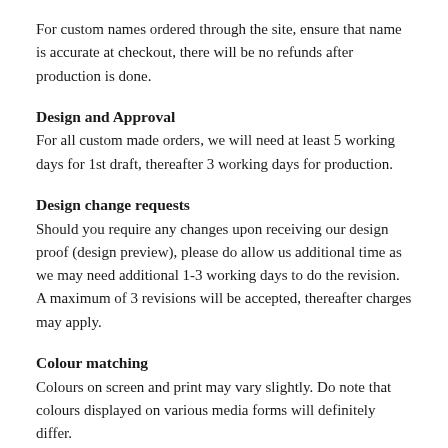For custom names ordered through the site, ensure that name is accurate at checkout, there will be no refunds after production is done.
Design and Approval
For all custom made orders, we will need at least 5 working days for 1st draft, thereafter 3 working days for production.
Design change requests
Should you require any changes upon receiving our design proof (design preview), please do allow us additional time as we may need additional 1-3 working days to do the revision. A maximum of 3 revisions will be accepted, thereafter charges may apply.
Colour matching
Colours on screen and print may vary slightly. Do note that colours displayed on various media forms will definitely differ.
Refunds, Returns and Exchange
All Fawn Products are Made to Order as such we regret to